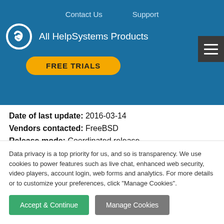Contact Us   Support   All HelpSystems Products   FREE TRIALS
Date of last update: 2016-03-14
Vendors contacted: FreeBSD
Release mode: Coordinated release
2. Vulnerability Information
Class: Unsigned to Signed Conversion Error [CWE-196]
Impact: Denial of service
Data privacy is a top priority for us, and so is transparency. We use cookies to power features such as live chat, enhanced web security, video players, account login, web forms and analytics. For more details or to customize your preferences, click "Manage Cookies".